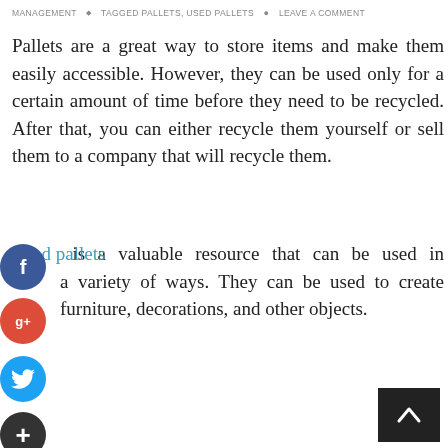MANAGEMENT  ♦  TAGGED PALLETS, USED PALLETS  ●  LEAVE A COMMENT
Pallets are a great way to store items and make them easily accessible. However, they can be used only for a certain amount of time before they need to be recycled. After that, you can either recycle them yourself or sell them to a company that will recycle them.
Used pallets is a valuable resource that can be used in a variety of ways. They can be used to create furniture, decorations, and other objects.